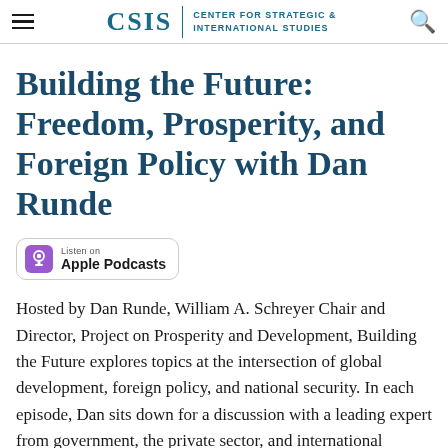CSIS | CENTER FOR STRATEGIC & INTERNATIONAL STUDIES
Building the Future: Freedom, Prosperity, and Foreign Policy with Dan Runde
[Figure (logo): Apple Podcasts badge with podcast icon, 'Listen on' label, and 'Apple Podcasts' text]
Hosted by Dan Runde, William A. Schreyer Chair and Director, Project on Prosperity and Development, Building the Future explores topics at the intersection of global development, foreign policy, and national security. In each episode, Dan sits down for a discussion with a leading expert from government, the private sector, and international organizations to discuss the challenges and opportunities facing the world today.